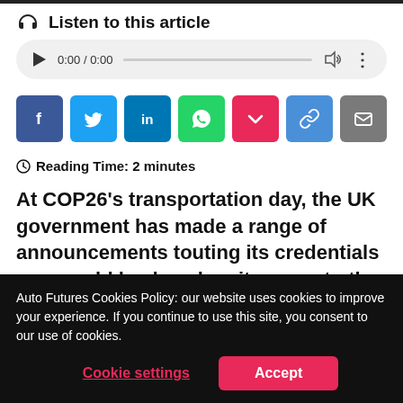Listen to this article
[Figure (other): Audio player widget showing 0:00 / 0:00 with play button, progress bar, volume icon, and more options]
[Figure (other): Row of social share buttons: Facebook (dark blue), Twitter (light blue), LinkedIn (dark blue), WhatsApp (green), Pocket (red), Copy link (blue), Email (gray)]
Reading Time: 2 minutes
At COP26's transportation day, the UK government has made a range of announcements touting its credentials as a world leader when it comes to the
Auto Futures Cookies Policy: our website uses cookies to improve your experience. If you continue to use this site, you consent to our use of cookies.
Cookie settings
Accept